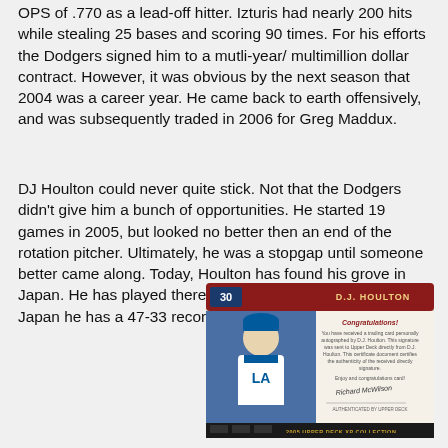OPS of .770 as a lead-off hitter. Izturis had nearly 200 hits while stealing 25 bases and scoring 90 times. For his efforts the Dodgers signed him to a mutli-year/ multimillion dollar contract. However, it was obvious by the next season that 2004 was a career year. He came back to earth offensively, and was subsequently traded in 2006 for Greg Maddux.
DJ Houlton could never quite stick. Not that the Dodgers didn't give him a bunch of opportunities. He started 19 games in 2005, but looked no better then an end of the rotation pitcher. Ultimately, he was a stopgap until someone better came along. Today, Houlton has found his grove in Japan. He has played there since 2008. In five season in Japan he has a 47-33 record with a 3.32 ERA.
[Figure (photo): Upper Deck baseball card of D.J. Houlton, number 30, in Dodgers uniform. Card shows player image on left and congratulations certificate text on right. Bottom reads '2005 UPPER DECK XP COLLECTION'.]